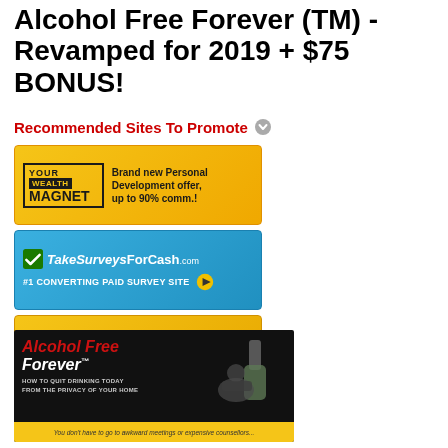Alcohol Free Forever (TM) - Revamped for 2019 + $75 BONUS!
Recommended Sites To Promote
[Figure (illustration): Your Wealth Magnet banner ad - yellow background with logo and text: Brand new Personal Development offer, up to 90% comm.!]
[Figure (illustration): TakeSurveysForCash.com banner ad - blue background. #1 CONVERTING PAID SURVEY SITE]
[Figure (illustration): Real Money Streams banner ad - yellow background with circular M logo. The easiest way to build multiple, online income streams.]
[Figure (illustration): Alcohol Free Forever banner - dark background with red italic title text, person slumped over a bottle, subtitle: HOW TO QUIT DRINKING TODAY FROM THE PRIVACY OF YOUR HOME, yellow footer: You don't have to go to awkward meetings or expensive counsellors...]